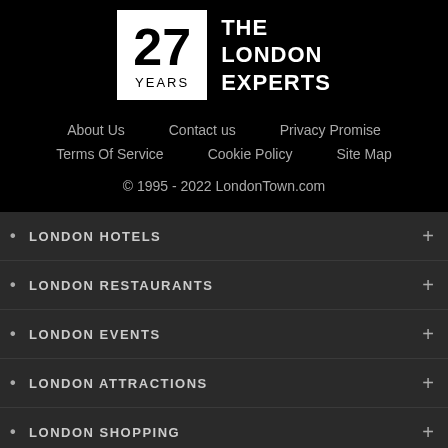[Figure (logo): 27 YEARS THE LONDON EXPERTS logo — white box with '27' in large bold numerals and 'YEARS' below, next to white text 'THE LONDON EXPERTS' on black background]
About Us
Contact us
Privacy Promise
Terms Of Service
Cookie Policy
Site Map
© 1995 - 2022 LondonTown.com
LONDON HOTELS
LONDON RESTAURANTS
LONDON EVENTS
LONDON ATTRACTIONS
LONDON SHOPPING
LONDON NIGHTLIFE